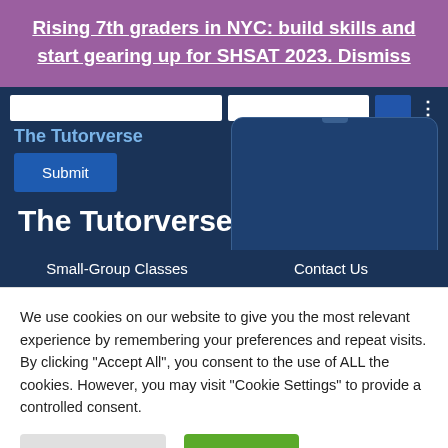Rising 7th graders in NYC: build skills and start gearing up for SHSAT 2023. Dismiss
The Tutorverse
Submit
The Tutorverse
Small-Group Classes
Contact Us
We use cookies on our website to give you the most relevant experience by remembering your preferences and repeat visits. By clicking “Accept All”, you consent to the use of ALL the cookies. However, you may visit "Cookie Settings" to provide a controlled consent.
Cookie Settings
Accept All